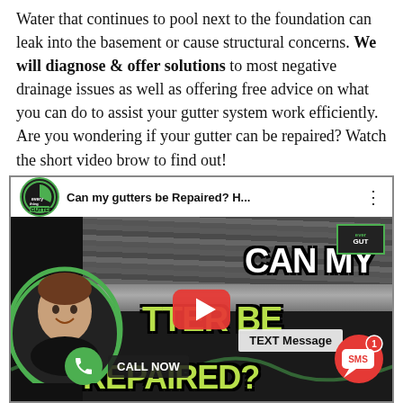Water that continues to pool next to the foundation can leak into the basement or cause structural concerns. We will diagnose & offer solutions to most negative drainage issues as well as offering free advice on what you can do to assist your gutter system work efficiently. Are you wondering if your gutter can be repaired? Watch the short video brow to find out!
[Figure (screenshot): YouTube video thumbnail embed showing 'Can my gutters be Repaired? H...' with a person, play button, green neon text reading 'CAN MY GUTTER BE REPAIRED?', a CALL NOW button, SMS button, and TEXT Message button.]